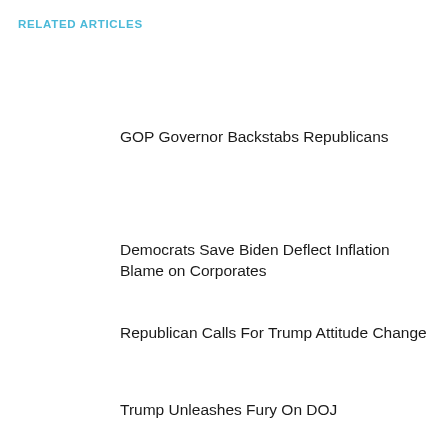RELATED ARTICLES
GOP Governor Backstabs Republicans
Democrats Save Biden Deflect Inflation Blame on Corporates
Republican Calls For Trump Attitude Change
Trump Unleashes Fury On DOJ